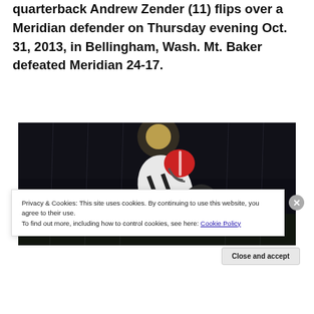quarterback Andrew Zender (11) flips over a Meridian defender on Thursday evening Oct. 31, 2013, in Bellingham, Wash. Mt. Baker defeated Meridian 24-17.
[Figure (photo): A football player in a white jersey with red helmet (number 11, Andrew Zender) leaping/flipping over a Meridian defender during a night game.]
Privacy & Cookies: This site uses cookies. By continuing to use this website, you agree to their use.
To find out more, including how to control cookies, see here: Cookie Policy